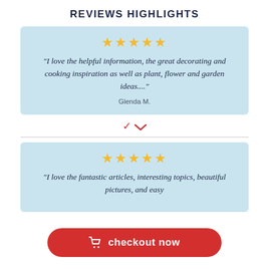REVIEWS HIGHLIGHTS
★★★★★
"I love the helpful information, the great decorating and cooking inspiration as well as plant, flower and garden ideas...."
Glenda M.
★★★★★
"I love the fantastic articles, interesting topics, beautiful pictures, and easy..."